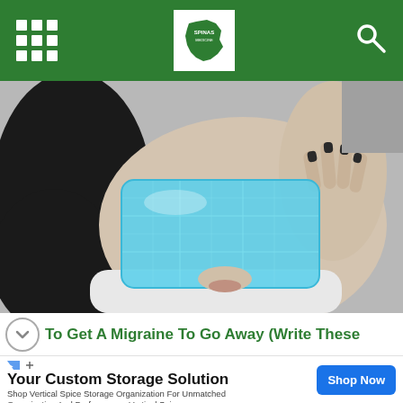Navigation bar with grid menu, logo, and search icon
[Figure (photo): Black and white photo of a woman lying down with a blue gel ice pack covering her eyes and forehead, holding it in place with her hand, dark nail polish visible, white clothing]
To Get A Migraine To Go Away (Write These
Your Custom Storage Solution
Shop Vertical Spice Storage Organization For Unmatched Organization And Performance. Vertical Spice
Shop Now